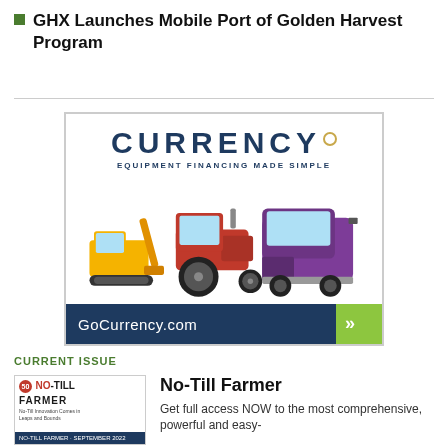GHX Launches Mobile Port of Golden Harvest Program
[Figure (advertisement): Currency Equipment Financing Made Simple advertisement showing a skid steer, red tractor, and purple semi truck with GoCurrency.com call-to-action button]
CURRENT ISSUE
[Figure (photo): No-Till Farmer magazine cover thumbnail]
No-Till Farmer
Get full access NOW to the most comprehensive, powerful and easy-